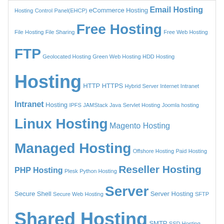Hosting Control Panel(EHCP) eCommerce Hosting Email Hosting File Hosting File Sharing Free Hosting Free Web Hosting FTP Geolocated Hosting Green Web Hosting HDD Hosting Hosting HTTP HTTPS Hybrid Server Internet Intranet Intranet Hosting IPFS JAMStack Java Servlet Hosting Joomla hosting Linux Hosting Magento Hosting Managed Hosting Offshore Hosting Paid Hosting PHP Hosting Plesk Python Hosting Reseller Hosting Secure Shell Secure Web Hosting Server Server Hosting SFTP Shared Hosting SMTP SSD Hosting SSH SSL Certificates Static Site Hosting Subdirectory Subdomain Traditional Hosting Unix Hosting VPS Hosting Web Hosting Web Server Webm Hosting WHM Wiki Hosting Window Hosting WINS Wordpress Hosting Workgroup Zen Cart Hosting
Popular Posts
[Figure (screenshot): Thumbnail screenshot of a web hosting control panel interface with horizontal bars]
2016's Ultimate Guide to Web Panels: cPanel & WHM
As the most widely used hosting control panel,  cPanel & WHM™  includes both a user-level interface (cPanel) and a server management in...
[Figure (screenshot): Thumbnail showing URL and IP address diagram with blue arrows and document icons]
Difference Between URL and IP Address
URL and IP Address In order to find what you want on the internet, you need to have a pointer of where to find it. URLs (Uniform Resource Lo...